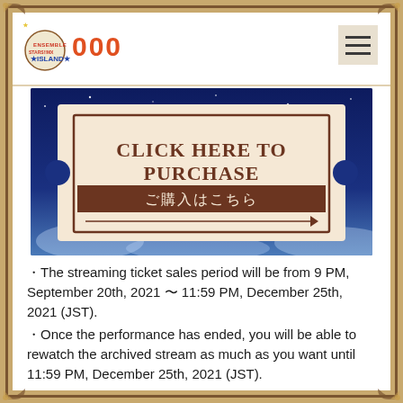[Figure (logo): Ensemble Stars EXTRA SUMMER Festival Island logo with decorative frame, showing event logo text and '000' in orange]
[Figure (illustration): A ticket graphic on a night sky / evening cloud background. The ticket reads 'CLICK HERE TO PURCHASE' in large serif brown text, with a brown bar below reading 'ご購入はこちら' (Japanese for 'purchase here'), and an arrow pointing right.]
・The streaming ticket sales period will be from 9 PM, September 20th, 2021 〜 11:59 PM, December 25th, 2021 (JST).
・Once the performance has ended, you will be able to rewatch the archived stream as much as you want until 11:59 PM, December 25th, 2021 (JST).